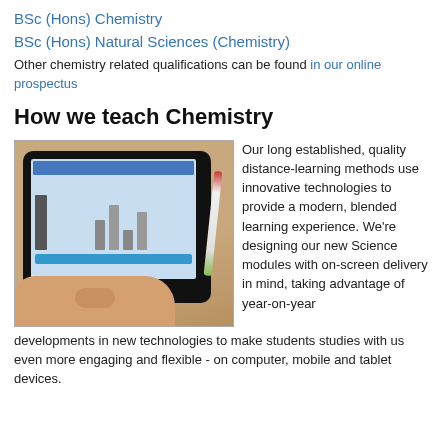BSc (Hons) Chemistry
BSc (Hons) Natural Sciences (Chemistry)
Other chemistry related qualifications can be found in our online prospectus
How we teach Chemistry
[Figure (photo): A person touching a tablet screen showing a chemistry learning module, with a pen beside it on a wooden desk.]
Our long established, quality distance-learning methods use innovative technologies to provide a modern, blended learning experience. We're designing our new Science modules with on-screen delivery in mind, taking advantage of year-on-year developments in new technologies to make students studies with us even more engaging and flexible - on computer, mobile and tablet devices.